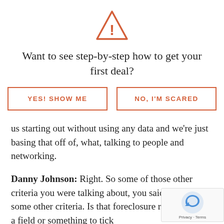[Figure (illustration): Orange warning triangle icon with exclamation mark]
Want to see step-by-step how to get your first deal?
[Figure (other): Two buttons: 'YES! SHOW ME' and 'NO, I'M SCARED' with orange borders and text]
us starting out without using any data and we're just basing that off of, what, talking to people and networking.
Danny Johnson: Right. So some of those other criteria you were talking about, you said you use some other criteria. Is that foreclosure rates? Is there a field or something to tick